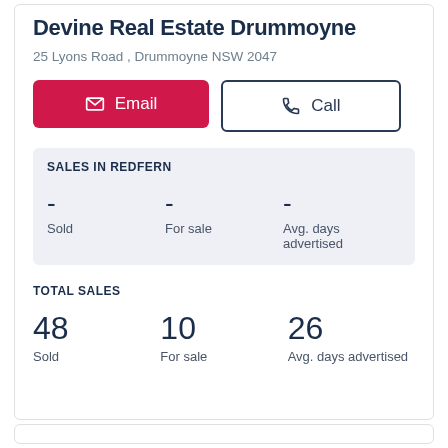Devine Real Estate Drummoyne
25 Lyons Road , Drummoyne NSW 2047
Email | Call
SALES IN REDFERN
|  |  |
| --- | --- |
| - | - | - |
| Sold | For sale | Avg. days advertised |
TOTAL SALES
|  |  |
| --- | --- |
| 48 | 10 | 26 |
| Sold | For sale | Avg. days advertised |